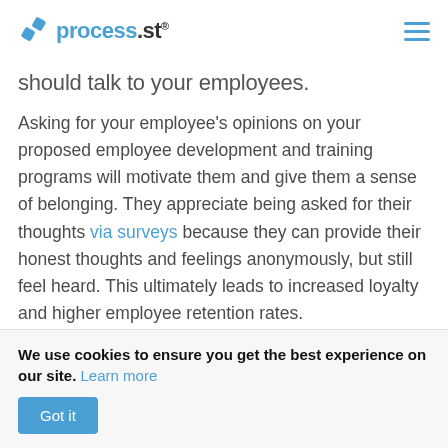process.st
should talk to your employees.
Asking for your employee's opinions on your proposed employee development and training programs will motivate them and give them a sense of belonging. They appreciate being asked for their thoughts via surveys because they can provide their honest thoughts and feelings anonymously, but still feel heard. This ultimately leads to increased loyalty and higher employee retention rates.
We use cookies to ensure you get the best experience on our site. Learn more
Got it